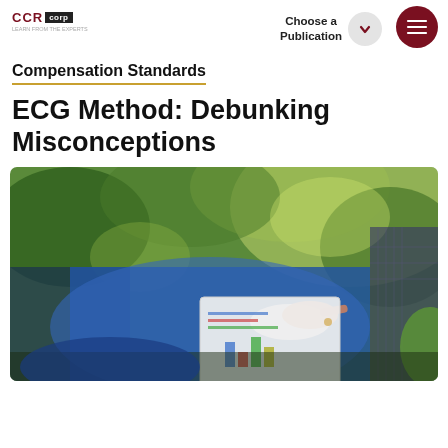CCR corp | Choose a Publication
Compensation Standards
ECG Method: Debunking Misconceptions
[Figure (photo): Person in blue suit reading a magazine/report with charts outdoors, pointing at a page, with green foliage in background]